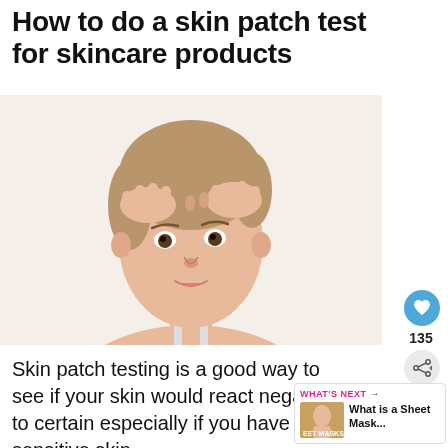How to do a skin patch test for skincare products
[Figure (photo): Woman pressing fingers to her forehead, looking concerned, examining her skin. White background.]
Skin patch testing is a good way to see if your skin would react negatively to certain especially if you have sensitive skin.